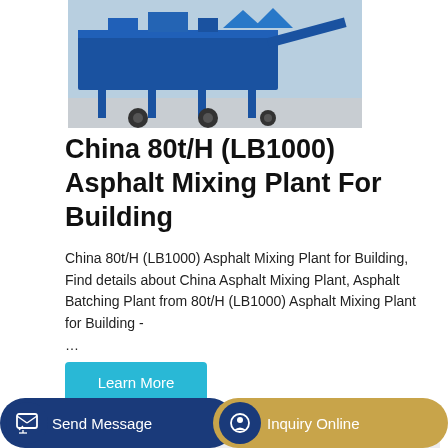[Figure (photo): Photo of blue asphalt mixing plant machinery on pavement, showing the undercarriage and support legs]
China 80t/H (LB1000) Asphalt Mixing Plant For Building
China 80t/H (LB1000) Asphalt Mixing Plant for Building, Find details about China Asphalt Mixing Plant, Asphalt Batching Plant from 80t/H (LB1000) Asphalt Mixing Plant for Building - …
Learn More
[Figure (photo): Photo of green and black industrial machinery, partially visible, on light gray background]
Send Message
Inquiry Online